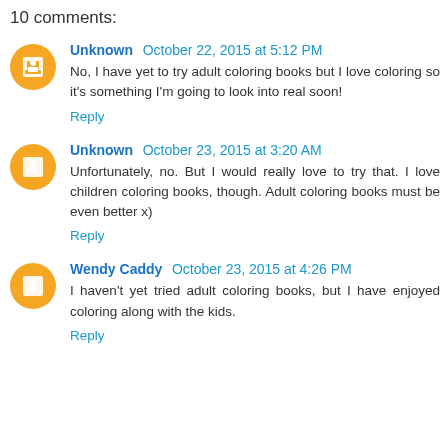10 comments:
Unknown  October 22, 2015 at 5:12 PM
No, I have yet to try adult coloring books but I love coloring so it's something I'm going to look into real soon!
Reply
Unknown  October 23, 2015 at 3:20 AM
Unfortunately, no. But I would really love to try that. I love children coloring books, though. Adult coloring books must be even better x)
Reply
Wendy Caddy  October 23, 2015 at 4:26 PM
I haven't yet tried adult coloring books, but I have enjoyed coloring along with the kids.
Reply